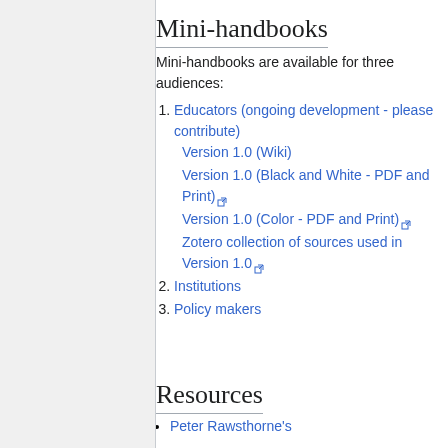Mini-handbooks
Mini-handbooks are available for three audiences:
1. Educators (ongoing development - please contribute)
Version 1.0 (Wiki)
Version 1.0 (Black and White - PDF and Print)
Version 1.0 (Color - PDF and Print)
Zotero collection of sources used in Version 1.0
2. Institutions
3. Policy makers
Resources
Peter Rawsthorne's